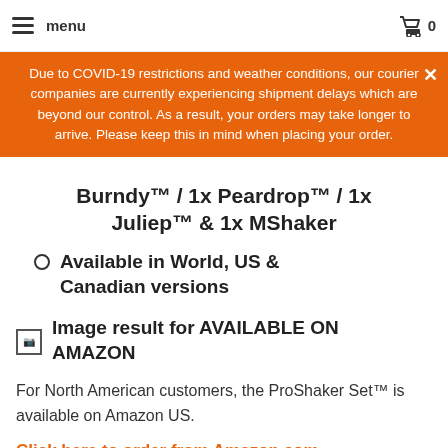menu | cart 0
Due to COVID-19 restrictions and weather conditions, our courier companies are currently experiencing shipment delays which are beyond our control. As a result, your orders may take longer to arrive. Please keep this in mind when placing your order.
Burndy™ 1x Peardrop™ 1x Juliep™ & 1x MShaker
Available in World, US & Canadian versions
[Figure (other): Broken image placeholder for 'Image result for AVAILABLE ON AMAZON']
For North American customers, the ProShaker Set™ is available on Amazon US.
Click here to order from Amazon.com